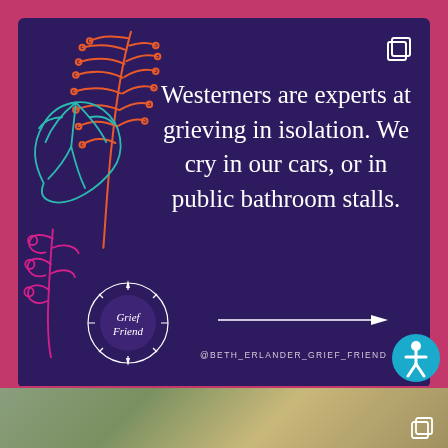[Figure (illustration): Social media post card with dark purple background, botanical line art decorations (orange fern, teal monstera leaf, hot pink flowering stem) on the left side, a quote in white serif text, a Grief Friend circular logo at bottom left, a horizontal arrow pointing right, and Instagram handle @BETH_ERLANDER_GRIEF_FRIEND at bottom.]
Westerners are experts at grieving in isolation. We cry in our cars, or in public bathroom stalls.
@BETH_ERLANDER_GRIEF_FRIEND